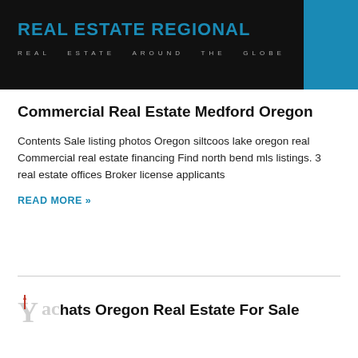REAL ESTATE REGIONAL
REAL ESTATE AROUND THE GLOBE
Commercial Real Estate Medford Oregon
Contents Sale listing photos Oregon siltcoos lake oregon real Commercial real estate financing Find north bend mls listings. 3 real estate offices Broker license applicants
READ MORE »
Yachats Oregon Real Estate For Sale